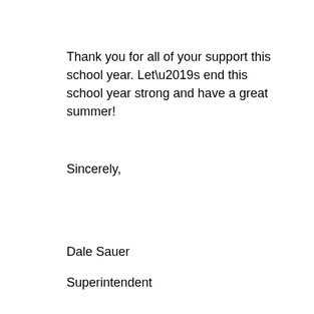Thank you for all of your support this school year. Let’s end this school year strong and have a great summer!
Sincerely,
Dale Sauer
Superintendent